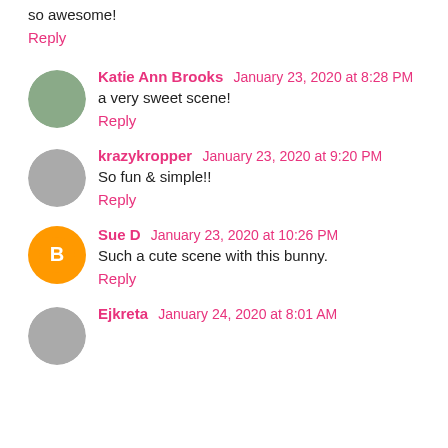so awesome!
Reply
Katie Ann Brooks  January 23, 2020 at 8:28 PM
a very sweet scene!
Reply
krazykropper  January 23, 2020 at 9:20 PM
So fun & simple!!
Reply
Sue D  January 23, 2020 at 10:26 PM
Such a cute scene with this bunny.
Reply
Ejkreta  January 24, 2020 at 8:01 AM